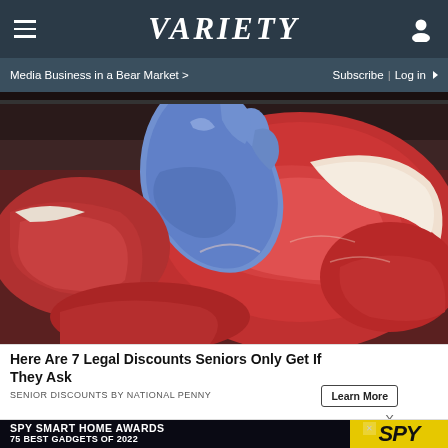VARIETY
Media Business in a Bear Market > | Subscribe | Log in
[Figure (photo): A person wearing blue latex gloves handling a large cut of raw beef/meat at a butcher counter or meat display case, surrounded by various cuts of red meat.]
Here Are 7 Legal Discounts Seniors Only Get If They Ask
SENIOR DISCOUNTS BY NATIONAL PENNY
[Figure (screenshot): Advertisement banner: SPY SMART HOME AWARDS – 75 BEST GADGETS OF 2022, with SPY logo on yellow background.]